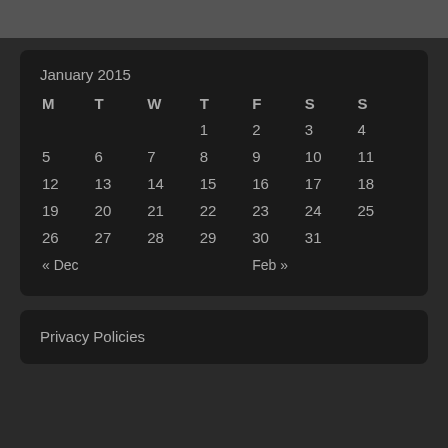| M | T | W | T | F | S | S |
| --- | --- | --- | --- | --- | --- | --- |
|  |  |  | 1 | 2 | 3 | 4 |
| 5 | 6 | 7 | 8 | 9 | 10 | 11 |
| 12 | 13 | 14 | 15 | 16 | 17 | 18 |
| 19 | 20 | 21 | 22 | 23 | 24 | 25 |
| 26 | 27 | 28 | 29 | 30 | 31 |  |
| « Dec |  |  |  | Feb » |  |  |
Privacy Policies